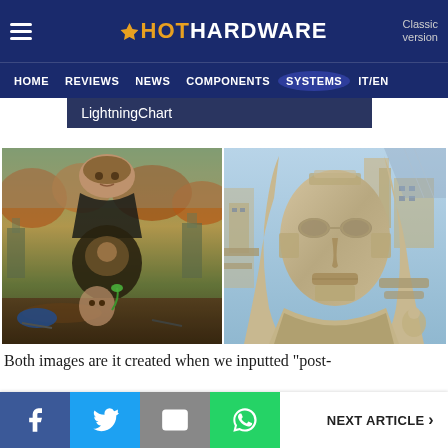HotHardware — HOME | REVIEWS | NEWS | COMPONENTS | SYSTEMS | IT/EN
LightningChart
[Figure (photo): Two AI-generated artwork images side by side: left is a surreal landscape with a woman's face, industrial ruins, and painted imagery on a wrecked vehicle in muddy surroundings; right is a sculpture-like 3D portrait of a woman merged with architectural/industrial structures.]
Both images are it created when we inputted "post-
NEXT ARTICLE >